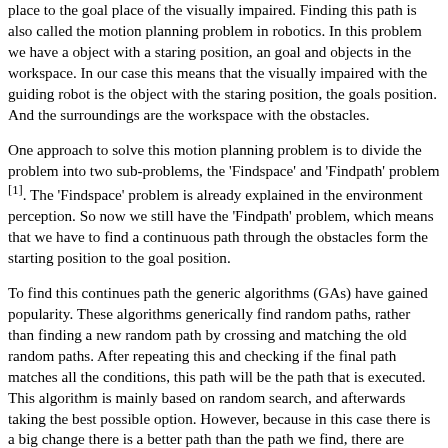place to the goal place of the visually impaired. Finding this path is also called the motion planning problem in robotics. In this problem we have a object with a staring position, an goal and objects in the workspace. In our case this means that the visually impaired with the guiding robot is the object with the staring position, the goals position. And the surroundings are the workspace with the obstacles.
One approach to solve this motion planning problem is to divide the problem into two sub-problems, the 'Findspace' and 'Findpath' problem [1]. The 'Findspace' problem is already explained in the environment perception. So now we still have the 'Findpath' problem, which means that we have to find a continuous path through the obstacles form the starting position to the goal position.
To find this continues path the generic algorithms (GAs) have gained popularity. These algorithms generically find random paths, rather than finding a new random path by crossing and matching the old random paths. After repeating this and checking if the final path matches all the conditions, this path will be the path that is executed. This algorithm is mainly based on random search, and afterwards taking the best possible option. However, because in this case there is a big change there is a better path than the path we find, there are better algorithms we could use to find the continuous path we want to walk with the guiding robot. So in the article 'on a PRIJ Algorithm